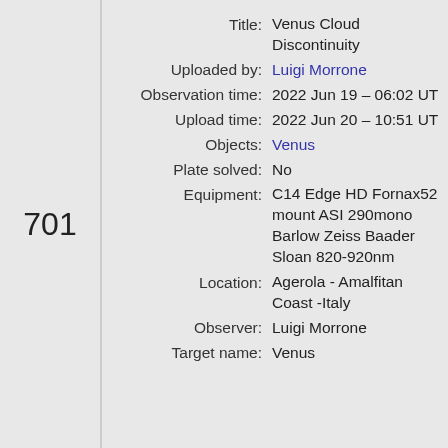| Field | Value |
| --- | --- |
| Title: | Venus Cloud Discontinuity |
| Uploaded by: | Luigi Morrone |
| Observation time: | 2022 Jun 19 – 06:02 UT |
| Upload time: | 2022 Jun 20 – 10:51 UT |
| Objects: | Venus |
| Plate solved: | No |
| Equipment: | C14 Edge HD Fornax52 mount ASI 290mono Barlow Zeiss Baader Sloan 820-920nm |
| Location: | Agerola - Amalfitan Coast -Italy |
| Observer: | Luigi Morrone |
| Target name: | Venus |